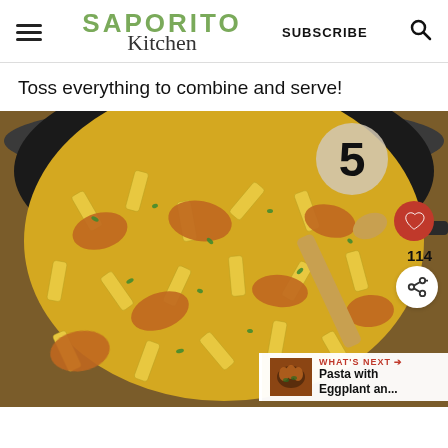SAPORITO Kitchen | SUBSCRIBE | [search icon]
Toss everything to combine and serve!
[Figure (photo): A skillet filled with penne pasta, chunks of seasoned chicken, and fresh herbs, with a wooden spoon; overlaid with step number 5 circle, heart/like button, share count 114, share button, and a 'What's Next' panel for Pasta with Eggplant an...]